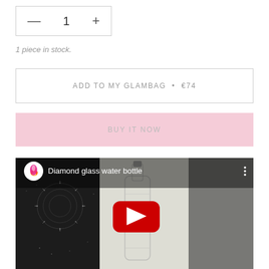— 1 +
1 piece in stock.
ADD TO MY GLAMBAG • €74
BUY IT NOW
[Figure (screenshot): YouTube video thumbnail showing a diamond glass water bottle with a red play button overlay, dark decorative pattern on left, light background in center, gray on right. Top bar shows YouTube-style logo and title 'Diamond glass water bottle'.]